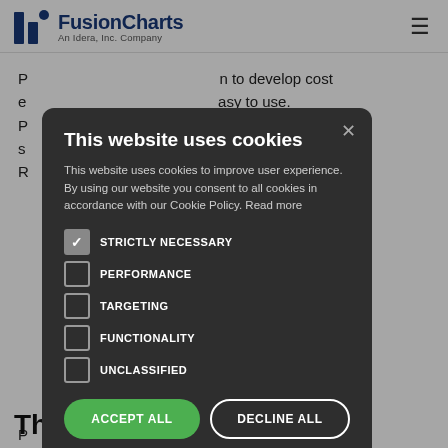FusionCharts — An Idera, Inc. Company
n to develop cost e asy to use. s network ng 70% of R
[Figure (screenshot): Cookie consent modal dialog with dark background. Title: 'This website uses cookies'. Body text: 'This website uses cookies to improve user experience. By using our website you consent to all cookies in accordance with our Cookie Policy. Read more'. Checkboxes: STRICTLY NECESSARY (checked), PERFORMANCE (unchecked), TARGETING (unchecked), FUNCTIONALITY (unchecked), UNCLASSIFIED (unchecked). Buttons: ACCEPT ALL (green), DECLINE ALL (outline). Footer: gear icon + SHOW DETAILS.]
ul and currently used b etwork to assure t easure traffic a
The need for charting